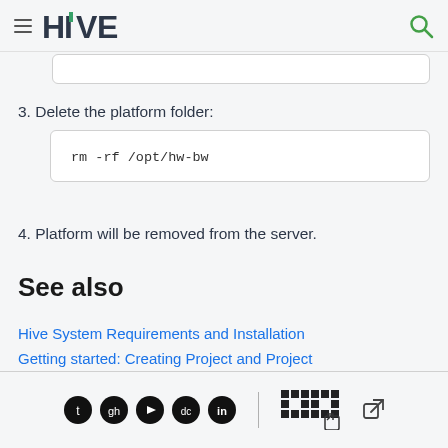HIVE
3. Delete the platform folder:
rm -rf /opt/hw-bw
4. Platform will be removed from the server.
See also
Hive System Requirements and Installation
Getting started: Creating Project and Project Group
Social icons and HEW logo